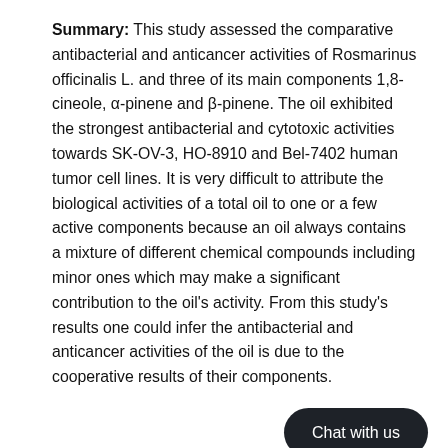Summary: This study assessed the comparative antibacterial and anticancer activities of Rosmarinus officinalis L. and three of its main components 1,8-cineole, α-pinene and β-pinene. The oil exhibited the strongest antibacterial and cytotoxic activities towards SK-OV-3, HO-8910 and Bel-7402 human tumor cell lines. It is very difficult to attribute the biological activities of a total oil to one or a few active components because an oil always contains a mixture of different chemical compounds including minor ones which may make a significant contribution to the oil's activity. From this study's results one could infer the antibacterial and anticancer activities of the oil is due to the cooperative results of their components.
Abstract: In this study, Rosmarinus [essential] oil and three of its main components 1,8-cineole (27.23%),